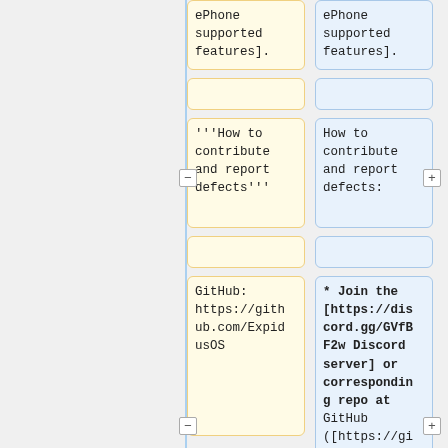ePhone supported features].
ePhone supported features].
'''How to contribute and report defects'''
How to contribute and report defects:
GitHub: https://github.com/ExpidusOS
* Join the [https://discord.gg/GVfBF2w Discord server] or corresponding repo at GitHub ([https://github.com/orgs/ExpidusOS/repositories